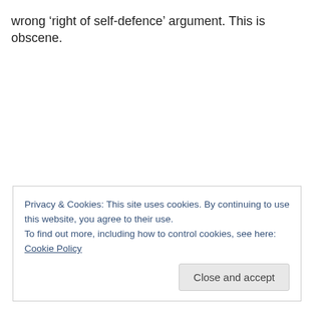wrong ‘right of self-defence’ argument. This is obscene.
Privacy & Cookies: This site uses cookies. By continuing to use this website, you agree to their use.
To find out more, including how to control cookies, see here: Cookie Policy
Close and accept